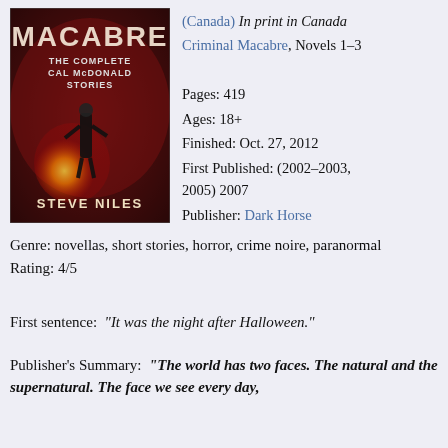[Figure (photo): Book cover of 'Criminal Macabre: The Complete Cal McDonald Stories' by Steve Niles, featuring a dark atmospheric cover with a figure and fire, published by Dark Horse.]
(Canada) In print in Canada
Criminal Macabre, Novels 1-3

Pages: 419
Ages: 18+
Finished: Oct. 27, 2012
First Published: (2002-2003, 2005) 2007
Publisher: Dark Horse
Genre: novellas, short stories, horror, crime noire, paranormal
Rating: 4/5
First sentence: "It was the night after Halloween."
Publisher's Summary: "The world has two faces. The natural and the supernatural. The face we see every day,